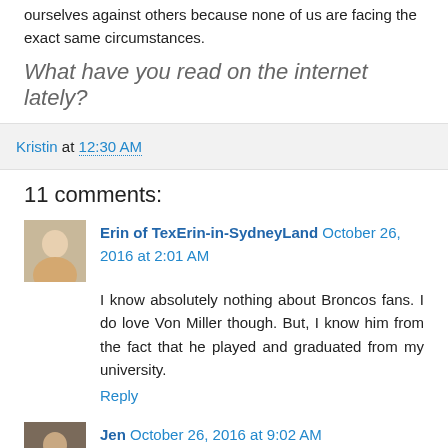ourselves against others because none of us are facing the exact same circumstances.
What have you read on the internet lately?
Kristin at 12:30 AM
11 comments:
Erin of TexErin-in-SydneyLand October 26, 2016 at 2:01 AM
I know absolutely nothing about Broncos fans. I do love Von Miller though. But, I know him from the fact that he played and graduated from my university.
Reply
Jen October 26, 2016 at 9:02 AM
Yes it's the same here, people are willing cold weather and all to win, and celebrating inside when it's not even...